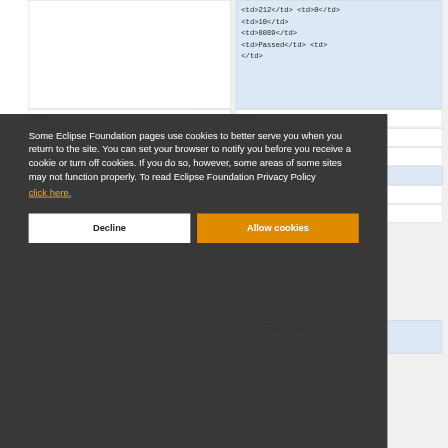[Figure (screenshot): Background screenshot of a web page showing HTML code snippets in highlighted code blocks, partially obscured by a cookie consent overlay.]
Some Eclipse Foundation pages use cookies to better serve you when you return to the site. You can set your browser to notify you before you receive a cookie or turn off cookies. If you do so, however, some areas of some sites may not function properly. To read Eclipse Foundation Privacy Policy click here.
Decline
Allow cookies